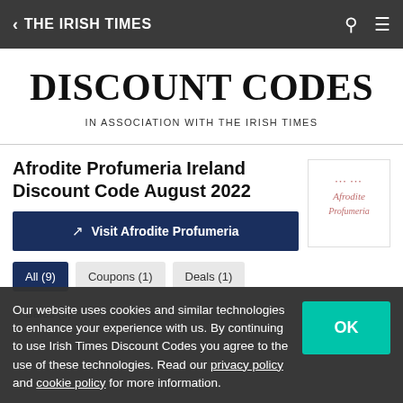< THE IRISH TIMES
DISCOUNT CODES
IN ASSOCIATION WITH THE IRISH TIMES
Afrodite Profumeria Ireland Discount Code August 2022
Visit Afrodite Profumeria
All (9)
Coupons (1)
Deals (1)
Sales (6)
[Figure (logo): Afrodite Profumeria logo with script text and decorative dots]
Our website uses cookies and similar technologies to enhance your experience with us. By continuing to use Irish Times Discount Codes you agree to the use of these technologies. Read our privacy policy and cookie policy for more information.